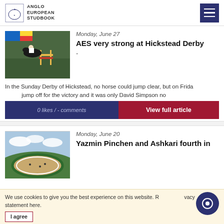Anglo European Studbook
Monday, June 27
AES very strong at Hickstead Derby
[Figure (photo): Equestrian show jumping photo – rider on black horse jumping over fence]
In the Sunday Derby of Hickstead, no horse could jump clear, but on Frida... jump off for the victory and it was only David Simpson no
0 likes / - comments
View full article
Monday, June 20
Yazmin Pinchen and Ashkari fourth in
[Figure (photo): Aerial view of equestrian arena with sand surface, green surroundings]
We use cookies to give you the best experience on this website. R... vacy statement here.
I agree